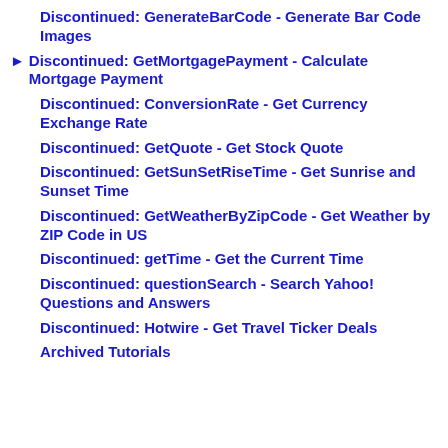Discontinued: GenerateBarCode - Generate Bar Code Images
► Discontinued: GetMortgagePayment - Calculate Mortgage Payment
Discontinued: ConversionRate - Get Currency Exchange Rate
Discontinued: GetQuote - Get Stock Quote
Discontinued: GetSunSetRiseTime - Get Sunrise and Sunset Time
Discontinued: GetWeatherByZipCode - Get Weather by ZIP Code in US
Discontinued: getTime - Get the Current Time
Discontinued: questionSearch - Search Yahoo! Questions and Answers
Discontinued: Hotwire - Get Travel Ticker Deals
Archived Tutorials